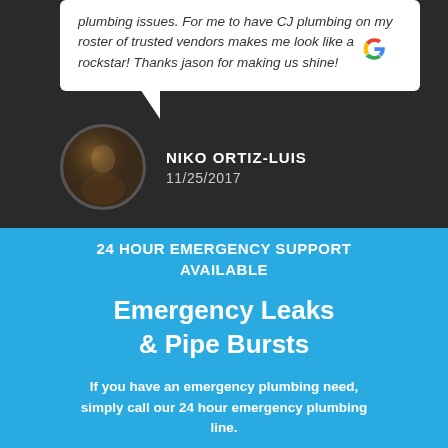plumbing issues. For me to have CJ plumbing on my roster of trusted vendors makes me look like a rockstar! Thanks jason for making us shine!
[Figure (logo): Google logo G icon]
[Figure (photo): Circular avatar photo of reviewer Niko Ortiz-Luis]
NIKO ORTIZ-LUIS
11/25/2017
24 HOUR EMERGENCY SUPPORT AVAILABLE
Emergency Leaks & Pipe Bursts
If you have an emergency plumbing need, simply call our 24 hour emergency plumbing line.